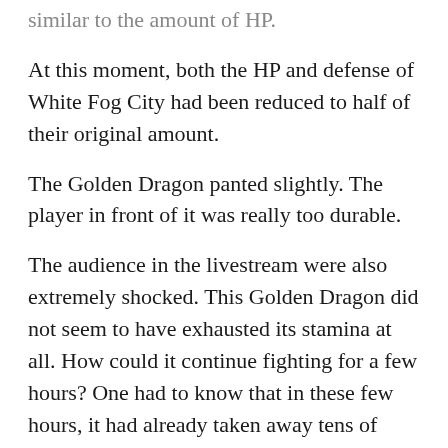similar to the amount of HP.
At this moment, both the HP and defense of White Fog City had been reduced to half of their original amount.
The Golden Dragon panted slightly. The player in front of it was really too durable.
The audience in the livestream were also extremely shocked. This Golden Dragon did not seem to have exhausted its stamina at all. How could it continue fighting for a few hours? One had to know that in these few hours, it had already taken away tens of millions of HP.
What made everyone even more speechless was that for such a long time, not only did Lu Chen not counterattack, he did not even dodge. He just took on the attacks of the Golden Dragon time and time again.
[This Golden Dragon has a sufficient amount of...